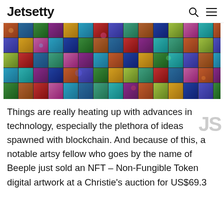Jetsetty
[Figure (photo): A colorful collage/mosaic of many small digital artworks and NFT-style illustrations packed together, showing fantasy characters, landscapes, and vivid digital art.]
Things are really heating up with advances in technology, especially the plethora of ideas spawned with blockchain. And because of this, a notable artsy fellow who goes by the name of Beeple just sold an NFT – Non-Fungible Token digital artwork at a Christie's auction for US$69.3